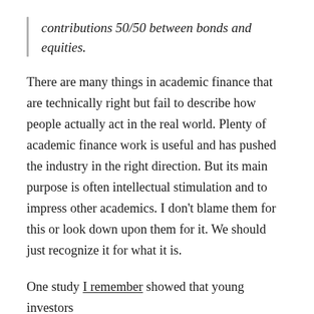contributions 50/50 between bonds and equities.
There are many things in academic finance that are technically right but fail to describe how people actually act in the real world. Plenty of academic finance work is useful and has pushed the industry in the right direction. But its main purpose is often intellectual stimulation and to impress other academics. I don't blame them for this or look down upon them for it. We should just recognize it for what it is.
One study I remember showed that young investors